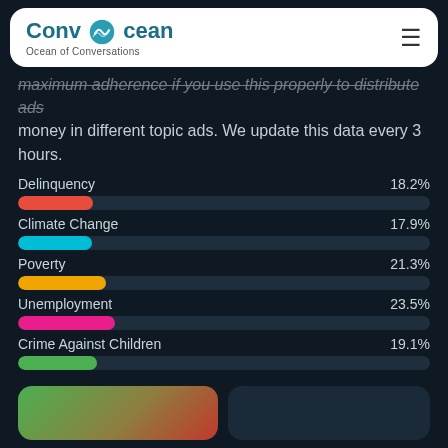[Figure (logo): ConvOcean - Ocean of Conversations logo with teal wave icon and hamburger menu]
maximum adherence if you use this properly to distribute ads money in different topic ads. We update this data every 3 hours.
[Figure (bar-chart): Topic ad distribution]
[Figure (other): Two cards at bottom: green-to-red gradient card and dark card]